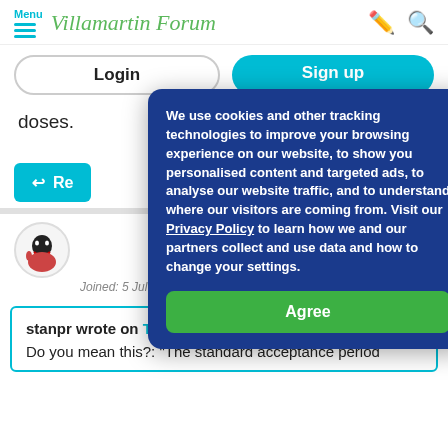Menu | Villamartin Forum
Login | Sign up
doses.
Reply
2 6:07pm
Joined: 5 Jul 2017
[Figure (other): Cookie consent popup overlay: 'We use cookies and other tracking technologies to improve your browsing experience on our website, to show you personalised content and targeted ads, to analyse our website traffic, and to understand where our visitors are coming from. Visit our Privacy Policy to learn how we and our partners collect and use data and how to change your settings.' with a green Agree button.]
stanpr wrote on Thu Feb 17, 2022 6:00pm: Do you mean this?: "The standard acceptance period